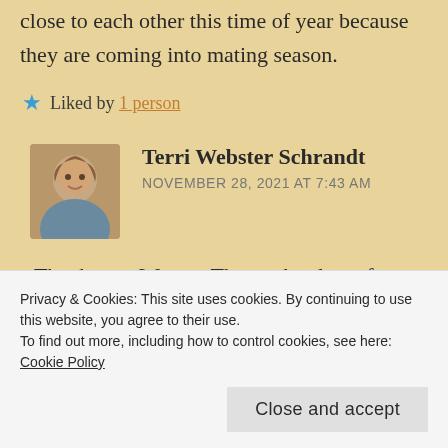close to each other this time of year because they are coming into mating season.
★ Liked by 1 person
Terri Webster Schrandt
NOVEMBER 28, 2021 AT 7:43 AM
Thank you, Wayne. That makes lots of sense, sure made for accidental
Privacy & Cookies: This site uses cookies. By continuing to use this website, you agree to their use.
To find out more, including how to control cookies, see here: Cookie Policy